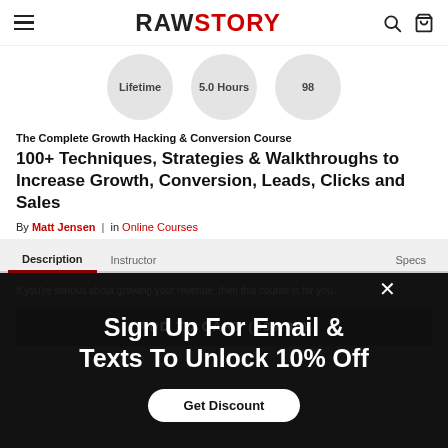RAW STORY
[Figure (infographic): Three circular badges showing Lifetime, 5.0 Hours, and 98]
The Complete Growth Hacking & Conversion Course
100+ Techniques, Strategies & Walkthroughs to Increase Growth, Conversion, Leads, Clicks and Sales
By Matt Jensen | in Online Courses
Description  Instructor  Specs
[Figure (screenshot): Dark popup overlay with text: Sign Up For Email & Texts To Unlock 10% Off, with close X button and Get Discount button]
If you're serious about growing your revenue, then this course is for you...
ADD TO CART ($39.95)